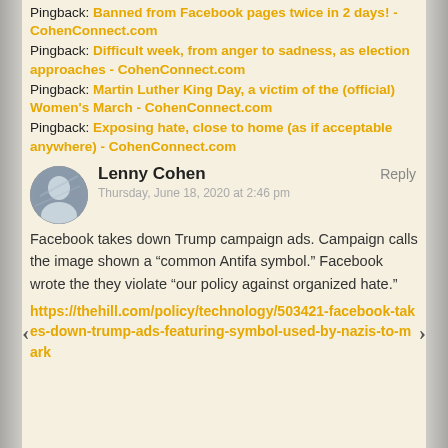Pingback: Banned from Facebook pages twice in 2 days! - CohenConnect.com
Pingback: Difficult week, from anger to sadness, as election approaches - CohenConnect.com
Pingback: Martin Luther King Day, a victim of the (official) Women's March - CohenConnect.com
Pingback: Exposing hate, close to home (as if acceptable anywhere) - CohenConnect.com
Lenny Cohen
Thursday, June 18, 2020 at 2:46 pm
Facebook takes down Trump campaign ads. Campaign calls the image shown a “common Antifa symbol.” Facebook wrote the they violate “our policy against organized hate.”
https://thehill.com/policy/technology/503421-facebook-takes-down-trump-ads-featuring-symbol-used-by-nazis-to-mark